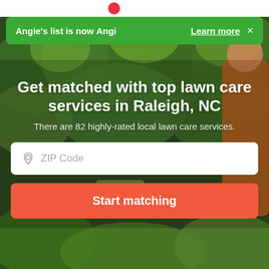[Figure (screenshot): Website screenshot of Angi (formerly Angie's List) showing a hero section for lawn care services in Raleigh, NC with a background photo of a person trimming hedges]
Angie's list is now Angi | Learn more ×
Get matched with top lawn care services in Raleigh, NC
There are 82 highly-rated local lawn care services.
ZIP Code
Start matching